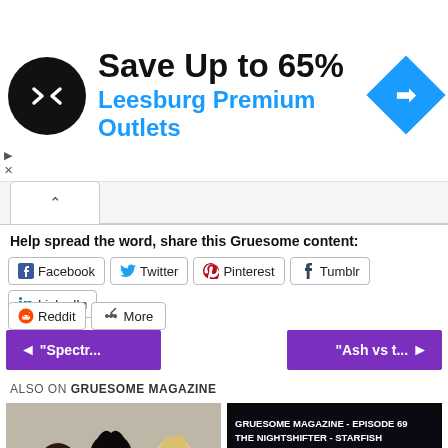[Figure (infographic): Ad banner: black circular logo with double arrows icon, text 'Save Up to 65%' and 'Leesburg Premium Outlets' in blue, blue diamond navigation icon on right]
Help spread the word, share this Gruesome content:
Facebook  Twitter  Pinterest  Tumblr  LinkedIn  Reddit  More
◄ "Spectr...
"Ash vs t... ►
ALSO ON GRUESOME MAGAZINE
[Figure (photo): Photo of three women/girls posing, dark hair, with caption 'a year ago • 1 comment']
[Figure (screenshot): Gruesome Magazine Episode 69 The Nightshifter - Starfish movie card, with text '3 years ago • 2 comments' and title 'Reviews of The STARFI...']